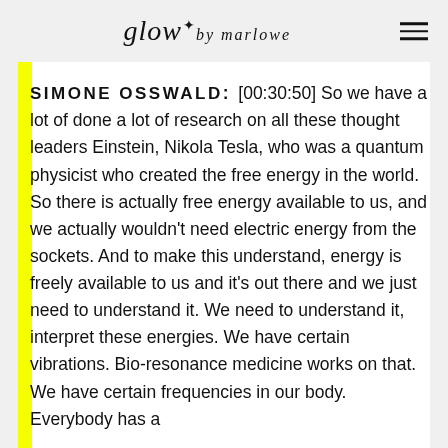glow by marlowe
SIMONE OSSWALD: [00:30:50] So we have a lot of done a lot of research on all these thought leaders Einstein, Nikola Tesla, who was a quantum physicist who created the free energy in the world. So there is actually free energy available to us, and we actually wouldn't need electric energy from the sockets. And to make this understand, energy is freely available to us and it's out there and we just need to understand it. We need to understand it, interpret these energies. We have certain vibrations. Bio-resonance medicine works on that. We have certain frequencies in our body. Everybody has a